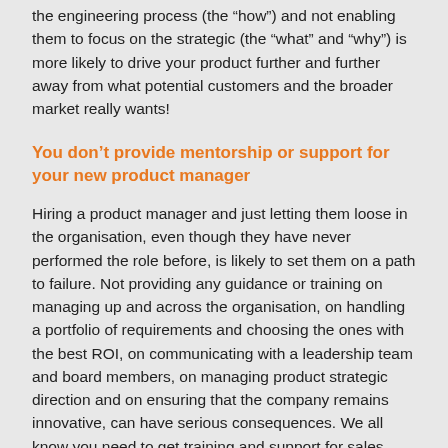the engineering process (the “how”) and not enabling them to focus on the strategic (the “what” and “why”) is more likely to drive your product further and further away from what potential customers and the broader market really wants!
You don’t provide mentorship or support for your new product manager
Hiring a product manager and just letting them loose in the organisation, even though they have never performed the role before, is likely to set them on a path to failure. Not providing any guidance or training on managing up and across the organisation, on handling a portfolio of requirements and choosing the ones with the best ROI, on communicating with a leadership team and board members, on managing product strategic direction and on ensuring that the company remains innovative, can have serious consequences. We all know you need to get training and support for sales, engineering and leadership team